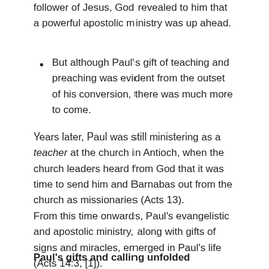follower of Jesus, God revealed to him that a powerful apostolic ministry was up ahead.
But although Paul’s gift of teaching and preaching was evident from the outset of his conversion, there was much more to come.
Years later, Paul was still ministering as a teacher at the church in Antioch, when the church leaders heard from God that it was time to send him and Barnabas out from the church as missionaries (Acts 13).
From this time onwards, Paul’s evangelistic and apostolic ministry, along with gifts of signs and miracles, emerged in Paul’s life (Acts 14:3, [1]).
Paul’s gifts and calling unfolded progressively